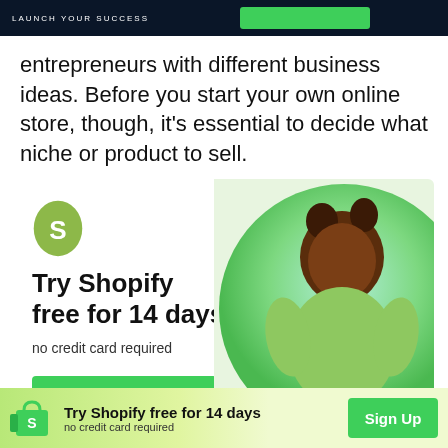LAUNCH YOUR SUCCESS
entrepreneurs with different business ideas. Before you start your own online store, though, it's essential to decide what niche or product to sell.
[Figure (infographic): Shopify advertisement banner with logo, 'Try Shopify free for 14 days', 'no credit card required', Sign Up button, and photo of a smiling woman with locs holding a shopping bag]
[Figure (infographic): Sticky bottom bar with Shopify logo, 'Try Shopify free for 14 days', 'no credit card required', and Sign Up button on gradient green background]